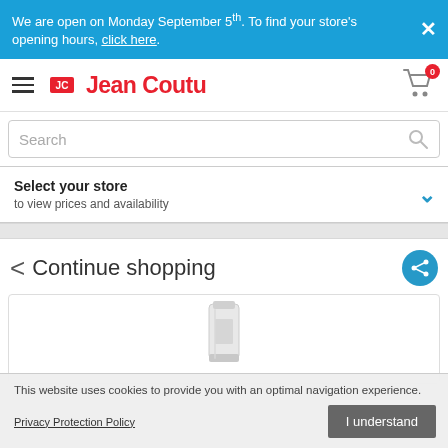We are open on Monday September 5th. To find your store's opening hours, click here.
[Figure (logo): Jean Coutu logo with hamburger menu and cart icon showing 0 items]
Search
Select your store
to view prices and availability
< Continue shopping
[Figure (photo): Partial product image visible in card]
This website uses cookies to provide you with an optimal navigation experience.
Privacy Protection Policy
I understand